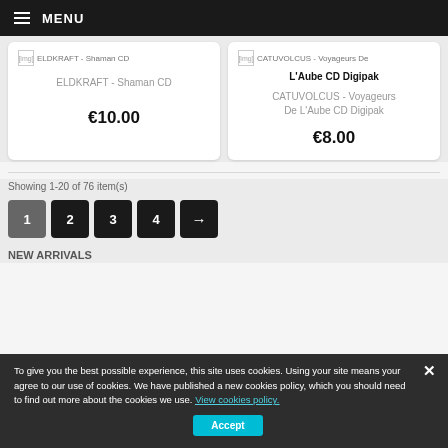≡ MENU
[Figure (screenshot): Product card for ELDKRAFT - Shaman CD showing broken image placeholder and price €10.00]
[Figure (screenshot): Product card for CATUVOLCUS - Voyageurs De L'Aube CD Digipak showing broken image placeholder and price €8.00]
Showing 1-20 of 76 item(s)
1 2 3 4 →
To give you the best possible experience, this site uses cookies. Using your site means your agree to our use of cookies. We have published a new cookies policy, which you should need to find out more about the cookies we use. View cookies policy.